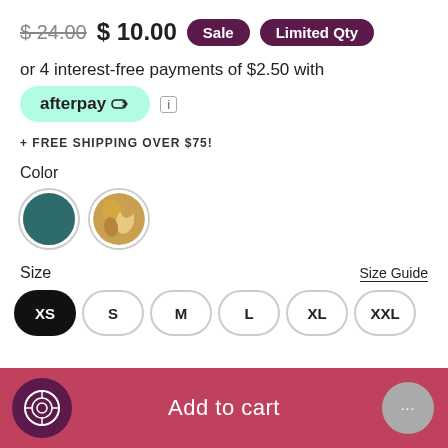$ 24.00  $ 10.00  Sale  Limited Qty
or 4 interest-free payments of $2.50 with
[Figure (logo): Afterpay logo button with teal/mint rounded rectangle background]
+ FREE SHIPPING OVER $75!
Color
[Figure (illustration): Two circular color swatches: teal/dark green and multicolor (yellow/gold/tan pattern)]
Size  Size Guide
XS  S  M  L  XL  XXL
Add to cart